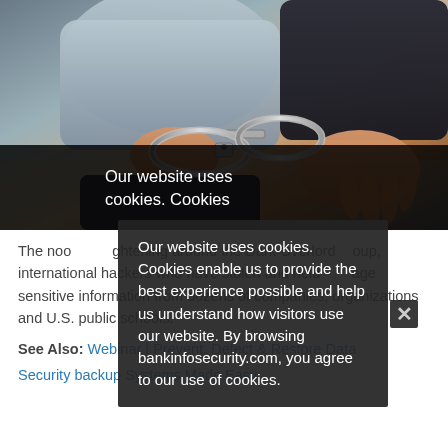[Figure (photo): Close-up photo of two people's hands with handcuffs being applied — an arrest scene. One person wears a grey sweater, the other a dark jacket. Background is dark with a dark semi-transparent band at the bottom.]
Our website uses cookies. Cookies enable us to provide the best experience possible and help us understand how visitors use our website. By browsing bankinfosecurity.com, you agree to our use of cookies.
The noose is tightening around the Dark Overlord group, international hackers who have stolen and held hostage sensitive information from dozens of companies, organizations and U.S. public schools.
See Also: Webinar | Prevent, Detect & Restore Data Security backup Systems Made Easy